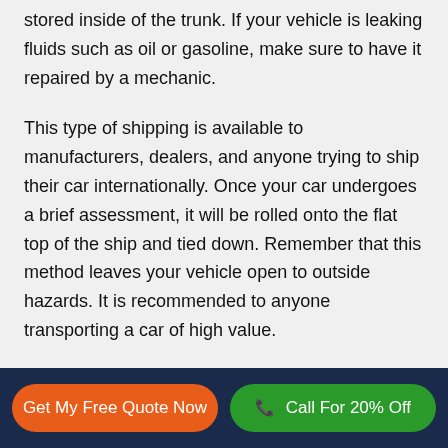stored inside of the trunk. If your vehicle is leaking fluids such as oil or gasoline, make sure to have it repaired by a mechanic.
This type of shipping is available to manufacturers, dealers, and anyone trying to ship their car internationally. Once your car undergoes a brief assessment, it will be rolled onto the flat top of the ship and tied down. Remember that this method leaves your vehicle open to outside hazards. It is recommended to anyone transporting a car of high value.
Get My Free Quote Now | Call For 20% Off